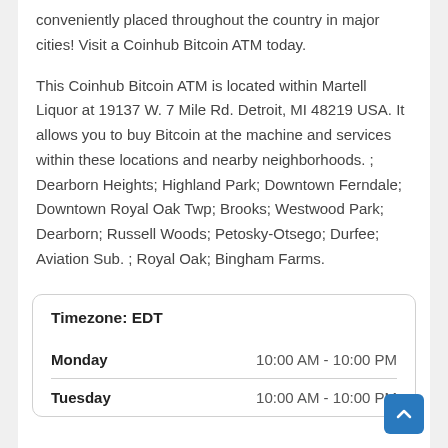conveniently placed throughout the country in major cities! Visit a Coinhub Bitcoin ATM today.
This Coinhub Bitcoin ATM is located within Martell Liquor at 19137 W. 7 Mile Rd. Detroit, MI 48219 USA. It allows you to buy Bitcoin at the machine and services within these locations and nearby neighborhoods. ; Dearborn Heights; Highland Park; Downtown Ferndale; Downtown Royal Oak Twp; Brooks; Westwood Park; Dearborn; Russell Woods; Petosky-Otsego; Durfee; Aviation Sub. ; Royal Oak; Bingham Farms.
|  |  |
| --- | --- |
| Timezone: EDT |  |
| Monday | 10:00 AM - 10:00 PM |
| Tuesday | 10:00 AM - 10:00 PM |